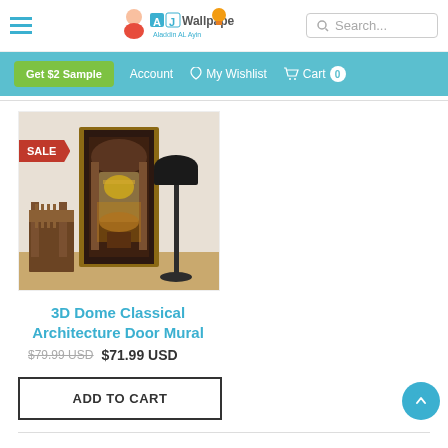AJ Wallpaper – Search bar and navigation
Get $2 Sample  Account  My Wishlist  Cart 0
[Figure (photo): Product photo of a room showing a door with a 3D dome classical architecture mural applied to it, a wooden chair on the left and a floor lamp on the right. A red SALE banner is on the upper left of the image.]
3D Dome Classical Architecture Door Mural
$79.99 USD  $71.99 USD
ADD TO CART